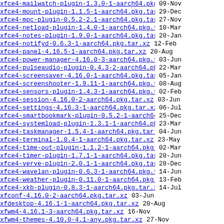xfce4-mailwatch-plugin-1.3.0-1-aarch64.pkg.tar.xz 09-Nov
xfce4-mount-plugin-1.1.5-1-aarch64.pkg.tar.xz 29-Dec
xfce4-mpc-plugin-0.5.2-2.1-aarch64.pkg.tar.xz 27-Nov
xfce4-netload-plugin-1.4.0-1-aarch64.pkg.tar.xz 10-Mar
xfce4-notes-plugin-1.9.0-1-aarch64.pkg.tar.xz 20-Jan
xfce4-notifyd-0.6.3-1-aarch64.pkg.tar.xz 12-Feb
xfce4-panel-4.16.5-1-aarch64.pkg.tar.xz 20-Aug
xfce4-power-manager-4.16.0-3-aarch64.pkg.tar.xz 03-Jun
xfce4-pulseaudio-plugin-0.4.3-2-aarch64.pkg.tar.xz 22-Mar
xfce4-screensaver-4.16.0-1-aarch64.pkg.tar.xz 05-Jan
xfce4-screenshooter-1.9.11-1-aarch64.pkg.tar.xz 08-Aug
xfce4-sensors-plugin-1.4.3-1-aarch64.pkg.tar.xz 02-Feb
xfce4-session-4.16.0-2-aarch64.pkg.tar.xz 03-Jun
xfce4-settings-4.16.3-1-aarch64.pkg.tar.xz 06-Jul
xfce4-smartbookmark-plugin-0.5.2-1-aarch64.pkg...> 25-Dec
xfce4-systemload-plugin-1.3.1-1-aarch64.pkg.tar.xz 23-Mar
xfce4-taskmanager-1.5.4-1-aarch64.pkg.tar.xz 04-Jun
xfce4-terminal-1.0.4-1-aarch64.pkg.tar.xz 23-May
xfce4-time-out-plugin-1.1.2-1-aarch64.pkg.tar.xz 02-Mar
xfce4-timer-plugin-1.7.1-1-aarch64.pkg.tar.xz 20-Jun
xfce4-verve-plugin-2.0.1-1-aarch64.pkg.tar.xz 28-Dec
xfce4-wavelan-plugin-0.6.3-1-aarch64.pkg.tar.xz 14-Jun
xfce4-weather-plugin-0.11.0-1-aarch64.pkg.tar.xz 13-Feb
xfce4-xkb-plugin-0.8.3-1-aarch64.pkg.tar.xz 14-Jul
xfconf-4.16.0-2-aarch64.pkg.tar.xz 03-Jun
xfdesktop-4.16.1-1-aarch64.pkg.tar.xz 20-Aug
xfwm4-4.16.1-3-aarch64.pkg.tar.xz 16-Nov
xfwm4-themes-4.10.0-4.1-any.pkg.tar.xz 27-Nov
xinetd-2.3.15.4-1-aarch64.pkg.tar.xz 26-Oct
xinetd.dinit.20211030.2-any.pkg.tar.xz 04-Dec